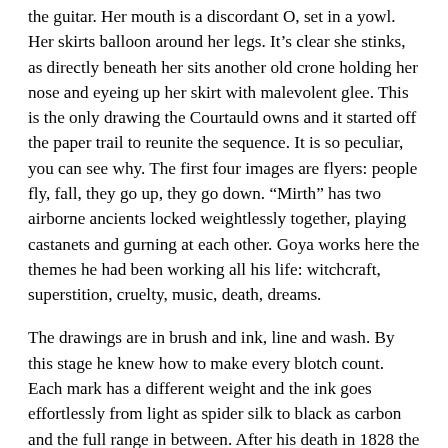the guitar. Her mouth is a discordant O, set in a yowl. Her skirts balloon around her legs. It’s clear she stinks, as directly beneath her sits another old crone holding her nose and eyeing up her skirt with malevolent glee. This is the only drawing the Courtauld owns and it started off the paper trail to reunite the sequence. It is so peculiar, you can see why. The first four images are flyers: people fly, fall, they go up, they go down. “Mirth” has two airborne ancients locked weightlessly together, playing castanets and gurning at each other. Goya works here the themes he had been working all his life: witchcraft, superstition, cruelty, music, death, dreams.
The drawings are in brush and ink, line and wash. By this stage he knew how to make every blotch count. Each mark has a different weight and the ink goes effortlessly from light as spider silk to black as carbon and the full range in between. After his death in 1828 the market swooped in: the drawings were separated and went on to have scattered lives in various collections, to be cropped and hacked about further. The reassembling of this exquisite suite of pages marks a long piece of global detective work by the curators Juliet Wilson-Bareau and Stephanie Buck: tracking stains, foxings, dog-ears, checking the reverse of a page for the imprint of ink, the ghost of a drawing on the next page.
Goya is always attentive to clothes. When you get old, you get